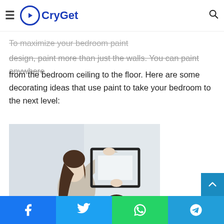CryGet (logo/navigation bar)
Painting your bedroom is an inexpensive way to personalize your design. To maximize your bedroom paint design, paint more than just the walls. You can paint anywhere from the bedroom ceiling to the floor. Here are some decorating ideas that use paint to take your bedroom to the next level:
[Figure (photo): A woman with long hair holding a framed picture against a wall, with a man looking up at her from below. Room appears to have a light grey/white wall.]
Social share buttons: Facebook, Twitter, WhatsApp, Telegram